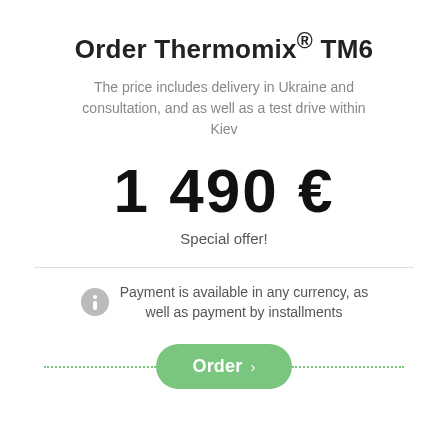Order Thermomix® TM6
The price includes delivery in Ukraine and consultation, and as well as a test drive within Kiev
1 490 €
Special offer!
Payment is available in any currency, as well as payment by installments
Order ›